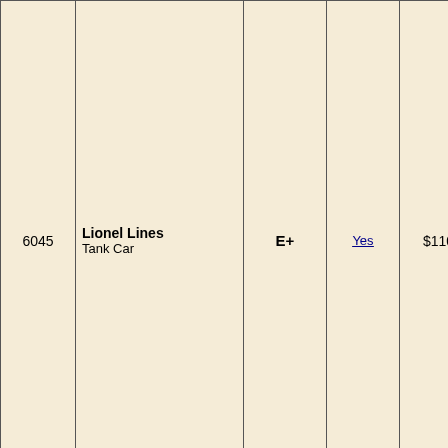| # | Name | Grade | Box? | Price | Description |
| --- | --- | --- | --- | --- | --- |
| 6045 | Lionel Lines Tank Car | E+ | Yes | $110 | Photo o side. Has a sm one side discolor (possib defect) about it It is a sh very, ver with ni -- and a with no missing Two "ae Check y collecti was not for sepa came in uncatal promoti 1960 bu does no |